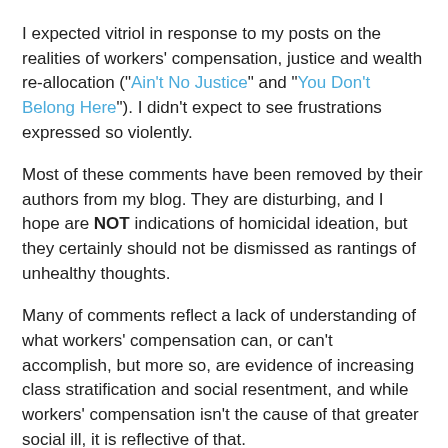I expected vitriol in response to my posts on the realities of workers' compensation, justice and wealth re-allocation ("Ain't No Justice" and "You Don't Belong Here"). I didn't expect to see frustrations expressed so violently.
Most of these comments have been removed by their authors from my blog. They are disturbing, and I hope are NOT indications of homicidal ideation, but they certainly should not be dismissed as rantings of unhealthy thoughts.
Many of comments reflect a lack of understanding of what workers' compensation can, or can't accomplish, but more so, are evidence of increasing class stratification and social resentment, and while workers' compensation isn't the cause of that greater social ill, it is reflective of that.
***********
YOUR (sic) right the only way the injured get justice is if they take the law into their own hands and hold those suits to